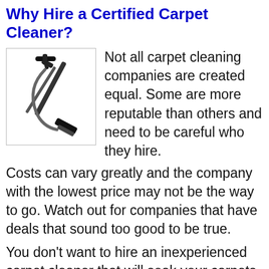Why Hire a Certified Carpet Cleaner?
[Figure (photo): Black and white illustration of a carpet cleaning wand/tool with a long handle and cleaning head at the bottom]
Not all carpet cleaning companies are created equal. Some are more reputable than others and you need to be careful who they hire.
Costs can vary greatly and the company with the lowest price may not be the way to go. Watch out for companies that have deals that sound too good to be true.
You don't want to hire an inexperienced carpet cleaner that will soak your carpets and do a lousy job. Carpet Cleaning Company will...